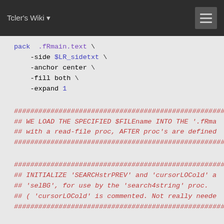Tcler's Wiki
pack .fRmain.text \
    -side $LR_sidetxt \
    -anchor center \
    -fill both \
    -expand 1
## WE LOAD THE SPECIFIED $FILEname INTO THE '.fRma
## with a read-file proc, AFTER proc's are defined
########################################################
## INITIALIZE 'SEARCHstrPREV' and 'cursorLOCold' a
## 'selBG', for use by the 'search4string' proc.
## ( 'cursorLOCold' is commented. Not really neede
########################################################
set SEARCHstrPREV ""

# set cursorLOCold  1.0